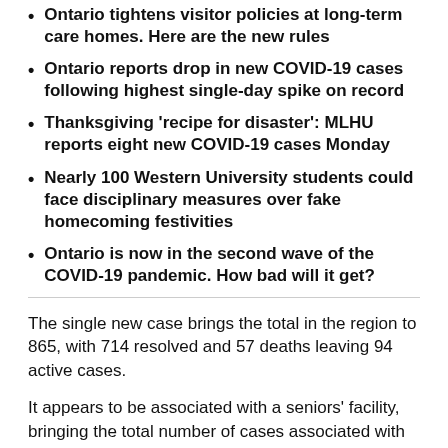Ontario tightens visitor policies at long-term care homes. Here are the new rules
Ontario reports drop in new COVID-19 cases following highest single-day spike on record
Thanksgiving 'recipe for disaster': MLHU reports eight new COVID-19 cases Monday
Nearly 100 Western University students could face disciplinary measures over fake homecoming festivities
Ontario is now in the second wave of the COVID-19 pandemic. How bad will it get?
The single new case brings the total in the region to 865, with 714 resolved and 57 deaths leaving 94 active cases.
It appears to be associated with a seniors' facility, bringing the total number of cases associated with those locations to 199.
There are four ongoing outbreaks at long-term care and